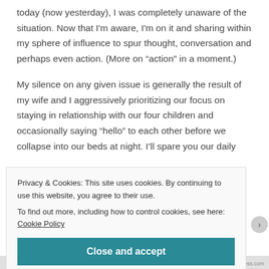today (now yesterday), I was completely unaware of the situation. Now that I'm aware, I'm on it and sharing within my sphere of influence to spur thought, conversation and perhaps even action. (More on “action” in a moment.)
My silence on any given issue is generally the result of my wife and I aggressively prioritizing our focus on staying in relationship with our four children and occasionally saying “hello” to each other before we collapse into our beds at night. I’ll spare you our daily
Privacy & Cookies: This site uses cookies. By continuing to use this website, you agree to their use.
To find out more, including how to control cookies, see here: Cookie Policy
Close and accept